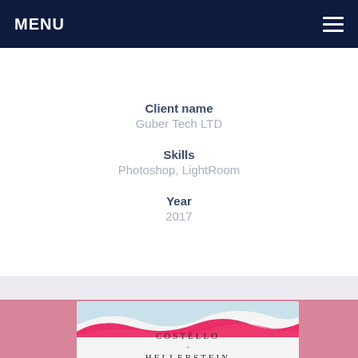MENU
Client name
Guber Tech LTD
Skills
Photoshop, LightRoom
Year
2017
[Figure (photo): Costello + Hellerstein branded product packaging box with pink and blue wave design elements, photographed on a pink background]